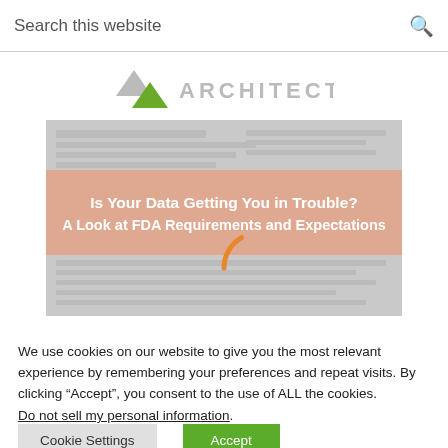Search this website
[Figure (logo): Architects logo with downward triangle arrows and text ARCHITECTS]
[Figure (illustration): Hero image showing papers/documents in background with salmon/pink banner overlay reading 'Is Your Data Getting You in Trouble? A Look at FDA Requirements and Expectations' and an orange spinner/loading arc below the banner]
We use cookies on our website to give you the most relevant experience by remembering your preferences and repeat visits. By clicking “Accept”, you consent to the use of ALL the cookies.
Do not sell my personal information.
Cookie Settings  Accept